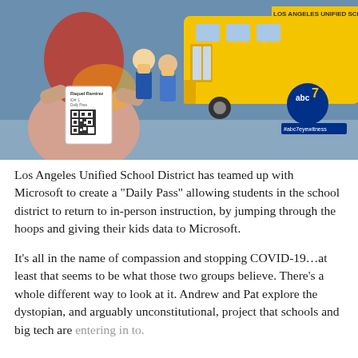[Figure (illustration): ABC7 Eyewitness News illustration showing an adult holding a QR code 'Daily Pass' card with a glowing effect, children in school uniforms wearing masks, and a yellow Los Angeles Unified School District school bus in the background. ABC7 logo visible in lower right.]
Los Angeles Unified School District has teamed up with Microsoft to create a "Daily Pass" allowing students in the school district to return to in-person instruction, by jumping through the hoops and giving their kids data to Microsoft.
It's all in the name of compassion and stopping COVID-19…at least that seems to be what those two groups believe. There's a whole different way to look at it. Andrew and Pat explore the dystopian, and arguably unconstitutional, project that schools and big tech are entering in to.